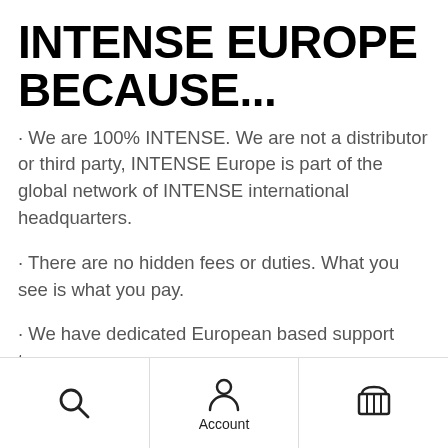INTENSE EUROPE BECAUSE...
· We are 100% INTENSE. We are not a distributor or third party, INTENSE Europe is part of the global network of INTENSE international headquarters.
· There are no hidden fees or duties. What you see is what you pay.
· We have dedicated European based support team.
· 24/7 INTENSE chat support with knowledgable and helpful
Account